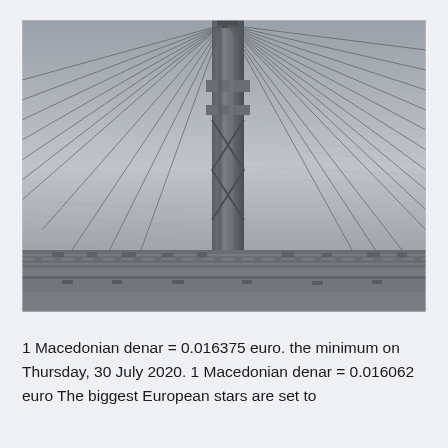[Figure (photo): Aerial black and white photograph looking down at a large suspension bridge tower with cable stays fanning out diagonally, water visible in the background and bridge roadway with traffic below.]
1 Macedonian denar = 0.016375 euro. the minimum on Thursday, 30 July 2020. 1 Macedonian denar = 0.016062 euro The biggest European stars are set to